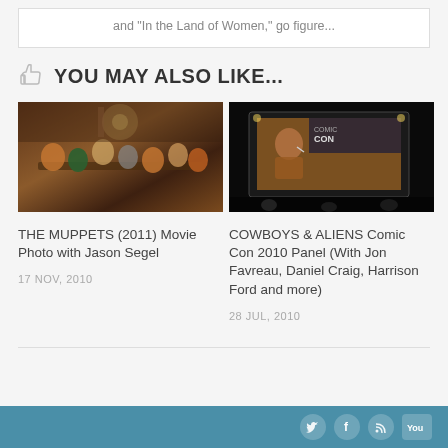and "In the Land of Women," go figure...
YOU MAY ALSO LIKE...
[Figure (photo): The Muppets (2011) movie photo showing Muppet characters seated around a dinner table with Jason Segel]
THE MUPPETS (2011) Movie Photo with Jason Segel
17 NOV, 2010
[Figure (photo): Cowboys & Aliens Comic Con 2010 panel photo showing a person speaking at a panel with Comic Con branding visible on screen behind them]
COWBOYS & ALIENS Comic Con 2010 Panel (With Jon Favreau, Daniel Craig, Harrison Ford and more)
28 JUL, 2010